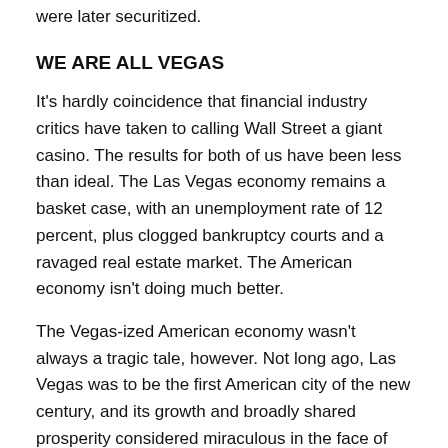were later securitized.
WE ARE ALL VEGAS
It's hardly coincidence that financial industry critics have taken to calling Wall Street a giant casino. The results for both of us have been less than ideal. The Las Vegas economy remains a basket case, with an unemployment rate of 12 percent, plus clogged bankruptcy courts and a ravaged real estate market. The American economy isn't doing much better.
The Vegas-ized American economy wasn't always a tragic tale, however. Not long ago, Las Vegas was to be the first American city of the new century, and its growth and broadly shared prosperity considered miraculous in the face of the rest of the country's post-industrial stagnant